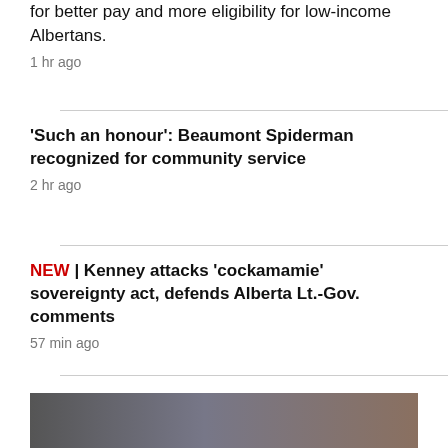for better pay and more eligibility for low-income Albertans.
1 hr ago
'Such an honour': Beaumont Spiderman recognized for community service
2 hr ago
NEW | Kenney attacks 'cockamamie' sovereignty act, defends Alberta Lt.-Gov. comments
57 min ago
TORONTO >
[Figure (photo): Photo of two people, partially visible at bottom of page]